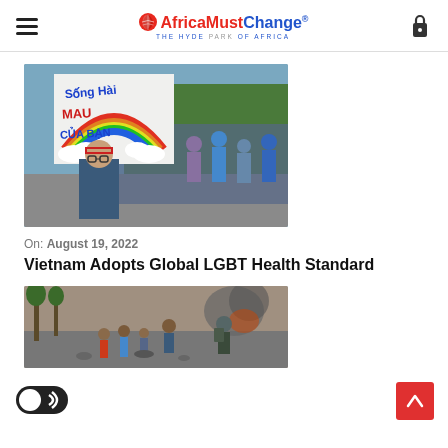AfricaMustChange® — THE HYDE PARK OF AFRICA
[Figure (photo): Person holding a rainbow-colored sign at a pride parade, crowd in background]
On: August 19, 2022
Vietnam Adopts Global LGBT Health Standard
[Figure (photo): Protest scene with people and smoke on a street, riot police visible]